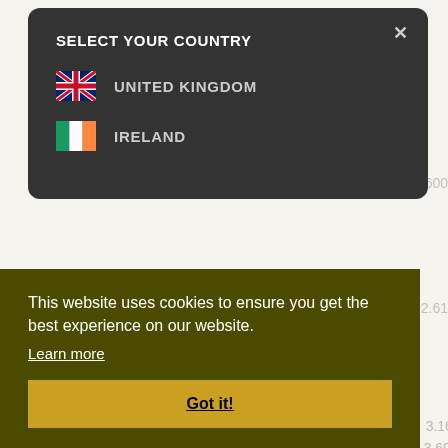[Figure (screenshot): Background webpage showing partial table with numeric data (dimensions and values like 38×145, 38×170, with values 3.614 3.477 3.16, 4.337 4.068 3.69, 4.656 4.25, 4.402 2.18, 5.026 2.75, partial numbers 600, 2.61 visible)]
SELECT YOUR COUNTRY
UNITED KINGDOM
IRELAND
This website uses cookies to ensure you get the best experience on our website.
Learn more
Got it!